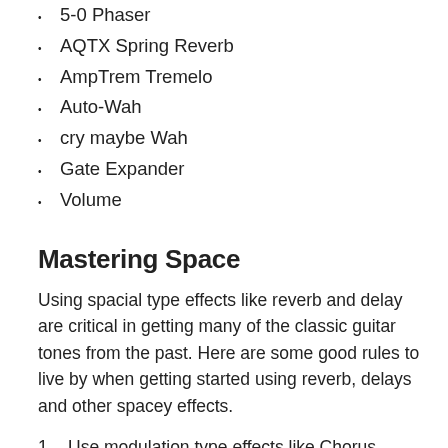5-0 Phaser
AQTX Spring Reverb
AmpTrem Tremelo
Auto-Wah
cry maybe Wah
Gate Expander
Volume
Mastering Space
Using spacial type effects like reverb and delay are critical in getting many of the classic guitar tones from the past. Here are some good rules to live by when getting started using reverb, delays and other spacey effects.
1. Use modulation type effects like Chorus, Phasers, and